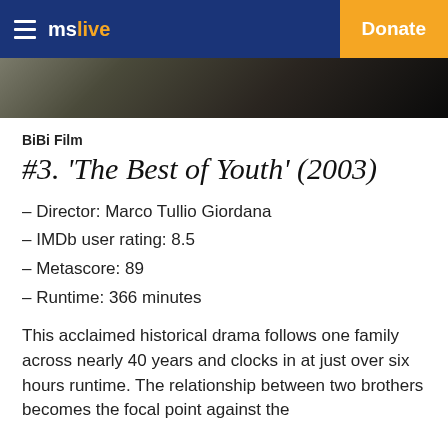mslive | Donate
[Figure (photo): Dark cinematic image strip, partially visible at top of content area]
BiBi Film
#3. 'The Best of Youth' (2003)
– Director: Marco Tullio Giordana
– IMDb user rating: 8.5
– Metascore: 89
– Runtime: 366 minutes
This acclaimed historical drama follows one family across nearly 40 years and clocks in at just over six hours runtime. The relationship between two brothers becomes the focal point against the